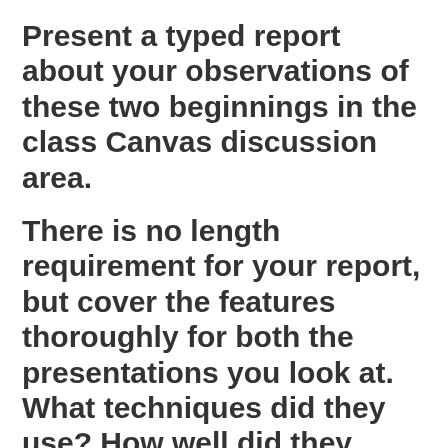Present a typed report about your observations of these two beginnings in the class Canvas discussion area.
There is no length requirement for your report, but cover the features thoroughly for both the presentations you look at. What techniques did they use? How well did they follow the guidelines specified in the text? Was there something else that you noticed in their openings that was effective? Mention things you noticed, whether they are features mentioned in the book or not. We will talk about our observations in